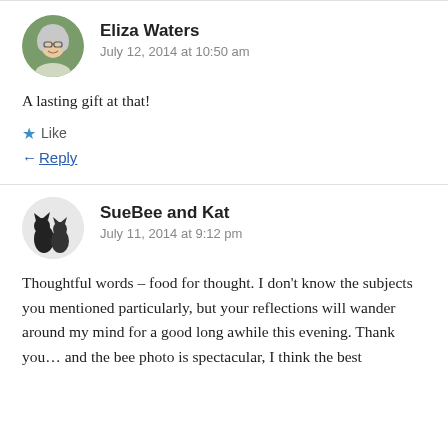Eliza Waters
July 12, 2014 at 10:50 am
A lasting gift at that!
Like
Reply
SueBee and Kat
July 11, 2014 at 9:12 pm
Thoughtful words – food for thought. I don't know the subjects you mentioned particularly, but your reflections will wander around my mind for a good long awhile this evening. Thank you… and the bee photo is spectacular, I think the best